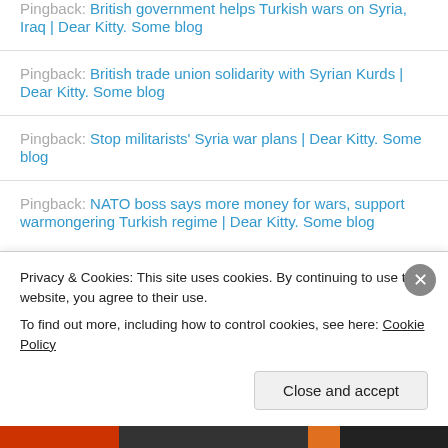Pingback: British government helps Turkish wars on Syria, Iraq | Dear Kitty. Some blog
Pingback: British trade union solidarity with Syrian Kurds | Dear Kitty. Some blog
Pingback: Stop militarists' Syria war plans | Dear Kitty. Some blog
Pingback: NATO boss says more money for wars, support warmongering Turkish regime | Dear Kitty. Some blog
Privacy & Cookies: This site uses cookies. By continuing to use this website, you agree to their use. To find out more, including how to control cookies, see here: Cookie Policy